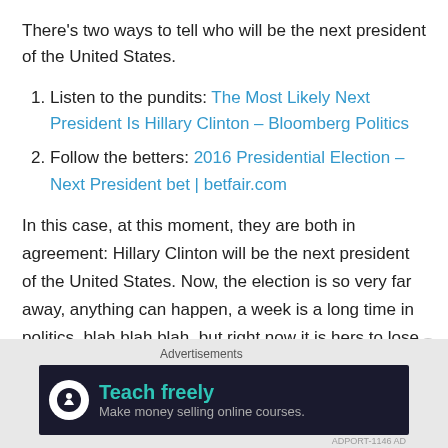There's two ways to tell who will be the next president of the United States.
Listen to the pundits: The Most Likely Next President Is Hillary Clinton – Bloomberg Politics
Follow the betters: 2016 Presidential Election – Next President bet | betfair.com
In this case, at this moment, they are both in agreement: Hillary Clinton will be the next president of the United States. Now, the election is so very far away, anything can happen, a week is a long time in politics, blah blah blah, but right now it is hers to lose.
[Figure (other): Advertisement banner: Teach freely — Make money selling online courses.]